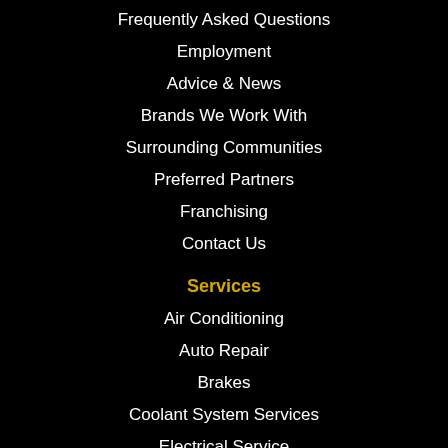Frequently Asked Questions
Employment
Advice & News
Brands We Work With
Surrounding Communities
Preferred Partners
Franchising
Contact Us
Services
Air Conditioning
Auto Repair
Brakes
Coolant System Services
Electrical Service
Engine Service
Exhaust